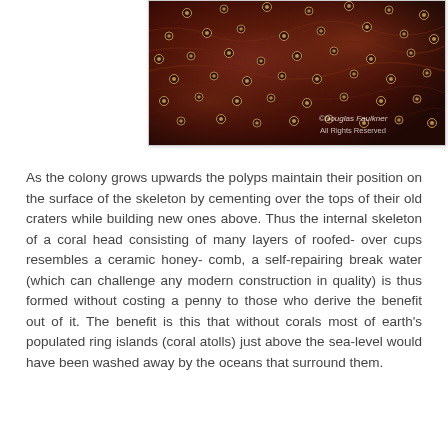[Figure (photo): Close-up macro photo of coral polyps on a coral head. The coral surface shows a dark reddish-brown textured pattern with raised circular polyp structures and small round tips/spines visible. Watermark reads: ©Douglas Faulkner All Rights Reserved.]
As the colony grows upwards the polyps maintain their position on the surface of the skeleton by cementing over the tops of their old craters while building new ones above. Thus the internal skeleton of a coral head consisting of many layers of roofed- over cups resembles a ceramic honey- comb, a self-repairing break water (which can challenge any modern construction in quality) is thus formed without costing a penny to those who derive the benefit out of it. The benefit is this that without corals most of earth's populated ring islands (coral atolls) just above the sea-level would have been washed away by the oceans that surround them.